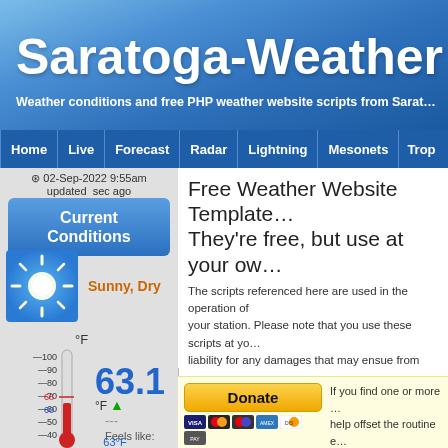Saratoga-Weather
Weather conditions and free PHP weather website scripts from Sarat…
Home | Live | Forecast | Radar | Lightning | Mesonets | Trop
02-Sep-2022 9:55am updated sec ago
Current Conditions
[Figure (illustration): Sun icon with rays on blue background, labeled Sunny, Dry]
[Figure (illustration): Thermometer showing approximately 63°F with temperature scale markings from 40-100°F]
Free Weather Website Template… They're free, but use at your ow…
The scripts referenced here are used in the operation of your station. Please note that you use these scripts at yo… liability for any damages that may ensue from their use. You will need to configure them for your own particular w…
RSS A RSS Feed is available to help keep you inform…
Many of these scripts are now available on GitHub at htt…
[Figure (infographic): Donate button with PayPal and credit card icons (Visa, Mastercard, etc.) on yellow background, with text about donation]
If you find one or more … help offset the routine e… Thanks for your kind su…